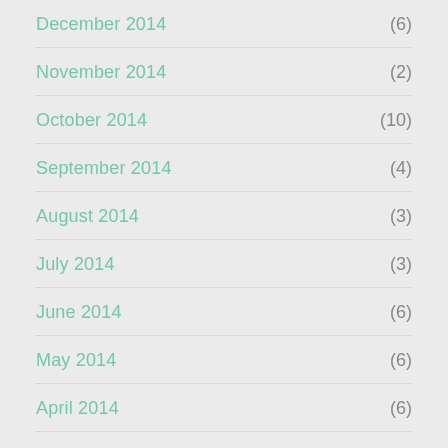December 2014 (6)
November 2014 (2)
October 2014 (10)
September 2014 (4)
August 2014 (3)
July 2014 (3)
June 2014 (6)
May 2014 (6)
April 2014 (6)
March 2014 (4)